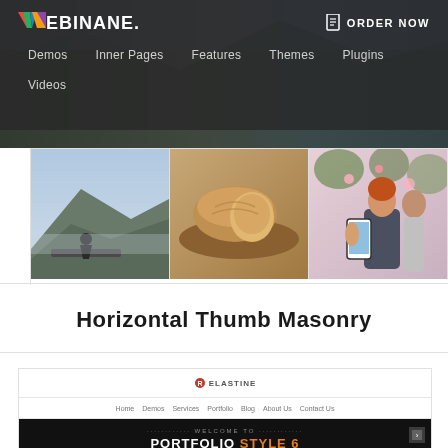WEBINANE. | Demos | Inner Pages | Features | Themes | Plugins | Videos | ORDER NOW
[Figure (screenshot): Navigation bar with Webinane logo and menu items: Demos, Inner Pages, Features, Themes, Plugins, Videos. ORDER NOW button on right.]
[Figure (photo): Three horizontal thumbnail photos showing: person sitting on mountain edge, bread/food on wooden board, person holding smartphone with woman standing behind.]
Horizontal Thumb Masonry
[Figure (screenshot): Website screenshot showing Elastine-style theme with nav bar (Home, Demos, Services, Portfolio, Blog, About Us, Contact Us) and dark hero section with text PORTFOLIO STYLE 6 in white and orange.]